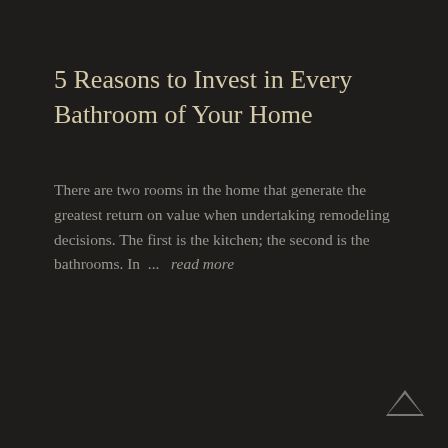5 Reasons to Invest in Every Bathroom of Your Home
There are two rooms in the home that generate the greatest return on value when undertaking remodeling decisions. The first is the kitchen; the second is the bathrooms. In ...  read more